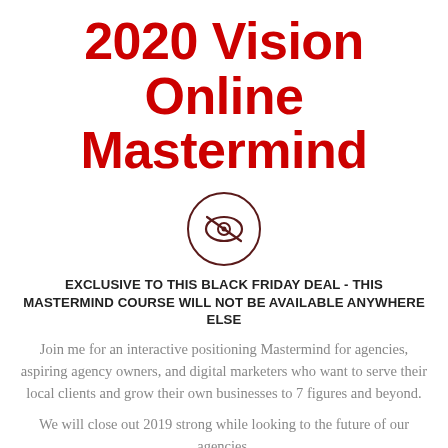2020 Vision Online Mastermind
[Figure (logo): Circular logo with dark border containing a stylized eye/brand icon in dark red/brown]
EXCLUSIVE TO THIS BLACK FRIDAY DEAL - THIS MASTERMIND COURSE WILL NOT BE AVAILABLE ANYWHERE ELSE
Join me for an interactive positioning Mastermind for agencies, aspiring agency owners, and digital marketers who want to serve their local clients and grow their own businesses to 7 figures and beyond.
We will close out 2019 strong while looking to the future of our agencies.
We will cover the future of Digital Marketing and how to...